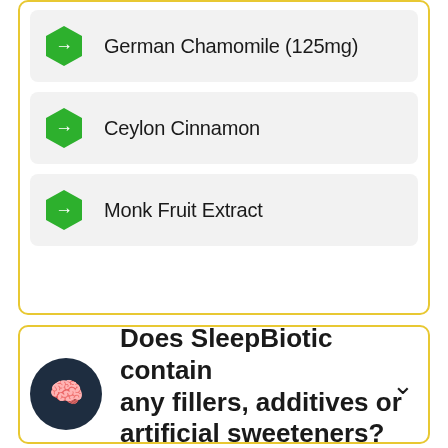German Chamomile (125mg)
Ceylon Cinnamon
Monk Fruit Extract
Does SleepBiotic contain any fillers, additives or artificial sweeteners?